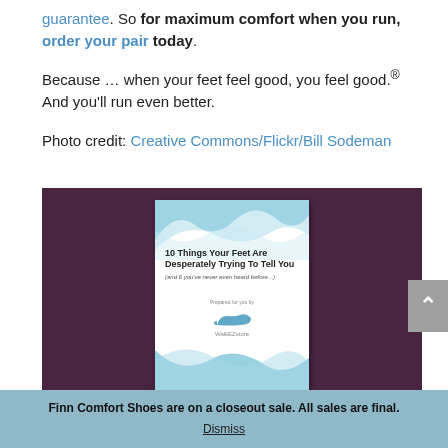guarantee. So for maximum comfort when you run, order your pair today.
Because … when your feet feel good, you feel good.® And you'll run even better.
Photo credit: Creative Commons/Flickr/Bill Sodeman
[Figure (illustration): Dark purple/maroon background with a book cover in the center. Book cover shows blue wave design elements at top and bottom, title '10 Things Your Feet Are Desperately Trying To Tell You (and 6 you've never even heard before...)', and WalkEZstore branding with shoe icon at the bottom.]
Finn Comfort Shoes are on a closeout sale. All sales are final.
Dismiss